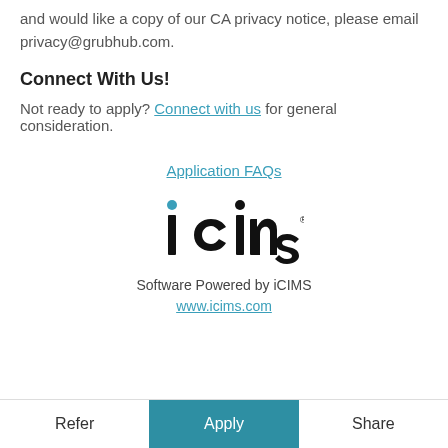and would like a copy of our CA privacy notice, please email privacy@grubhub.com.
Connect With Us!
Not ready to apply? Connect with us for general consideration.
Application FAQs
[Figure (logo): iCIMS logo with teal dot above the letter i]
Software Powered by iCIMS
www.icims.com
Refer  Apply  Share